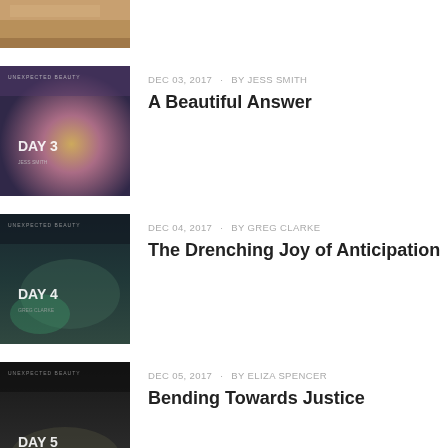[Figure (photo): Partial top image cropped at top of page showing warm-toned texture]
DEC 03, 2017 · BY JESS SMITH
A Beautiful Answer
[Figure (photo): Album art thumbnail: Unexpected Beauty Day 3, purple/gold cloudy sky tones]
DEC 04, 2017 · BY GREG CLARKE
The Drenching Joy of Anticipation
[Figure (photo): Album art thumbnail: Unexpected Beauty Day 4, dark water reflection tones]
DEC 05, 2017 · BY ELIZA SPENCER
Bending Towards Justice
[Figure (photo): Album art thumbnail: Unexpected Beauty Day 5, dark moody tones]